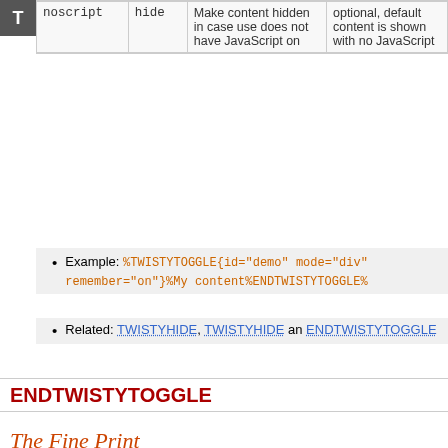|  |  |  |  |
| --- | --- | --- | --- |
| noscript | hide | Make content hidden in case use does not have JavaScript on | optional, default content is shown with no JavaScript |
Example: %TWISTYTOGGLE{id="demo" mode="div" remember="on"}%My content%ENDTWISTYTOGGLE%
Related: TWISTYHIDE, TWISTYHIDE an ENDTWISTYTOGGLE
ENDTWISTYTOGGLE
The Twisty closure
Syntax: %ENDTWISTYTOGGLE%
Will end the most inner unclosed Twisty Toggle section, using the proper tag
Example: %ENDTWISTYTOGGLE%
Related: TWISTYTOGGLE
The Fine Print